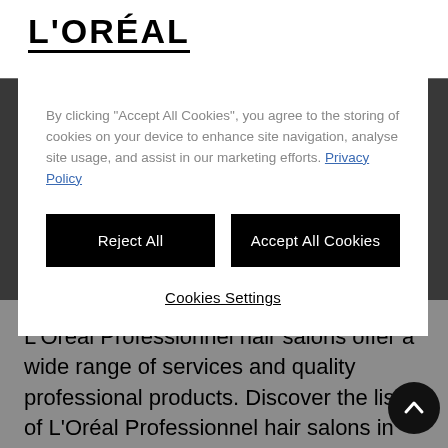L'ORÉAL
By clicking "Accept All Cookies", you agree to the storing of cookies on your device to enhance site navigation, analyse site usage, and assist in our marketing efforts. Privacy Policy
Reject All
Accept All Cookies
Cookies Settings
L'Oréal Professionnel hair salons offer a wide range of services and quality professional products. Discover the list of L'Oréal Professionnel hair salons in KIRK HALLAM, ILESTON, as well as the opening hours, address and phone